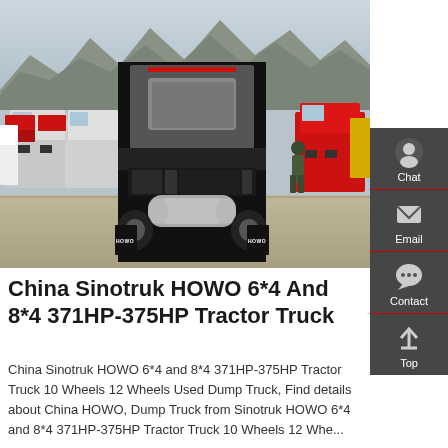[Figure (photo): Rear view of a Sinotruk HOWO tractor truck in a truck yard, with mountains in the background. Multiple trucks visible. HOWO text visible on mudflaps.]
China Sinotruk HOWO 6*4 And 8*4 371HP-375HP Tractor Truck
China Sinotruk HOWO 6*4 and 8*4 371HP-375HP Tractor Truck 10 Wheels 12 Wheels Used Dump Truck, Find details about China HOWO, Dump Truck from Sinotruk HOWO 6*4 and 8*4 371HP-375HP Tractor Truck 10 Wheels 12 Whe...